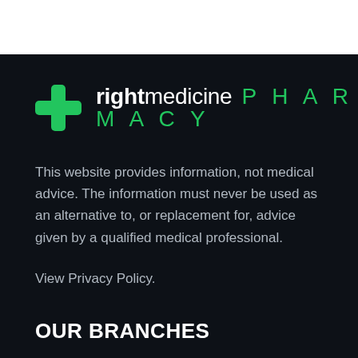[Figure (logo): Right Medicine Pharmacy logo with green plus cross icon and text 'rightmedicine PHARMACY' on dark navy background]
This website provides information, not medical advice. The information must never be used as an alternative to, or replacement for, advice given by a qualified medical professional.
View Privacy Policy.
OUR BRANCHES